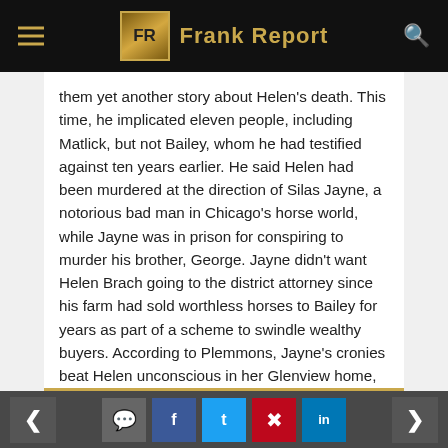Frank Report
them yet another story about Helen's death. This time, he implicated eleven people, including Matlick, but not Bailey, whom he had testified against ten years earlier. He said Helen had been murdered at the direction of Silas Jayne, a notorious bad man in Chicago's horse world, while Jayne was in prison for conspiring to murder his brother, George. Jayne didn't want Helen Brach going to the district attorney since his farm had sold worthless horses to Bailey for years as part of a scheme to swindle wealthy buyers. According to Plemmons, Jayne's cronies beat Helen unconscious in her Glenview home, then Plemmons shot her twice, and they cremated her body in a furnace. Most rejected
Navigation and social share buttons